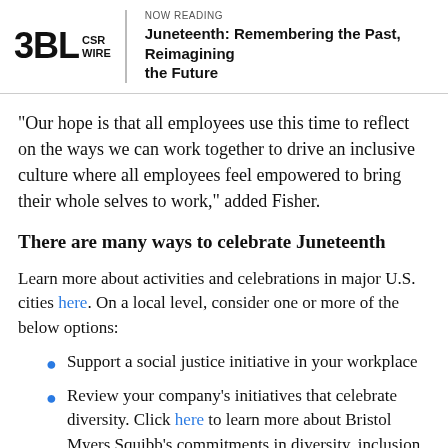3BL CSR WIRE | NOW READING Juneteenth: Remembering the Past, Reimagining the Future
“Our hope is that all employees use this time to reflect on the ways we can work together to drive an inclusive culture where all employees feel empowered to bring their whole selves to work,” added Fisher.
There are many ways to celebrate Juneteenth
Learn more about activities and celebrations in major U.S. cities here. On a local level, consider one or more of the below options:
Support a social justice initiative in your workplace
Review your company’s initiatives that celebrate diversity. Click here to learn more about Bristol Myers Squibb’s commitments in diversity, inclusion and health equity.
Support a Black-owned business